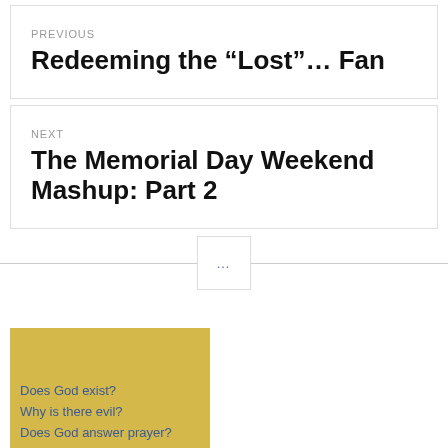PREVIOUS
Redeeming the “Lost”… Fan
NEXT
The Memorial Day Weekend Mashup: Part 2
…
Does God exist?
Why is there evil?
Does God answer prayer?
How do I find intimacy?